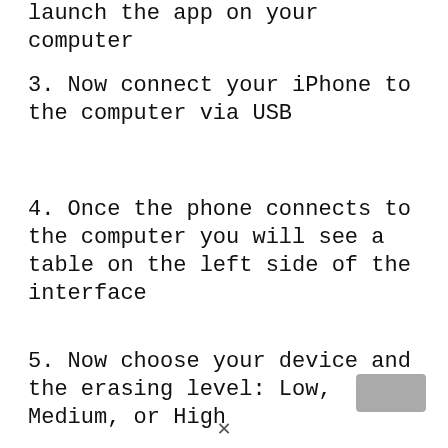launch the app on your computer
3. Now connect your iPhone to the computer via USB
4. Once the phone connects to the computer you will see a table on the left side of the interface
5. Now choose your device and the erasing level: Low, Medium, or High